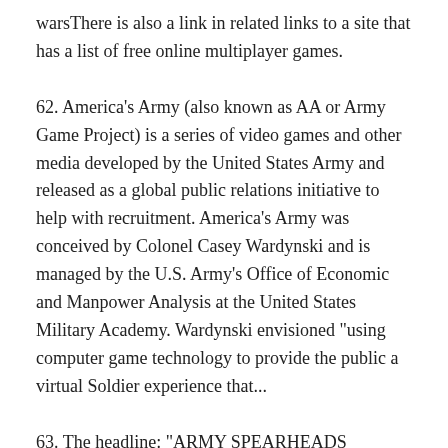warsThere is also a link in related links to a site that has a list of free online multiplayer games.
62. America's Army (also known as AA or Army Game Project) is a series of video games and other media developed by the United States Army and released as a global public relations initiative to help with recruitment. America's Army was conceived by Colonel Casey Wardynski and is managed by the U.S. Army's Office of Economic and Manpower Analysis at the United States Military Academy. Wardynski envisioned "using computer game technology to provide the public a virtual Soldier experience that...
63. The headline: "ARMY SPEARHEADS DIGITAL FORCES". The Army is equipping its first digitized division, the 4th Infantry Division in Fort Hood, Texas, with critical battlefield awareness software and Spearhead, a commercial